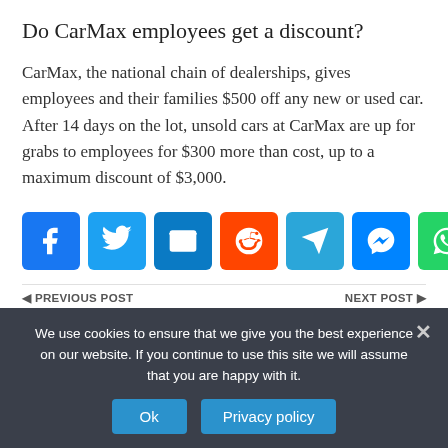Do CarMax employees get a discount?
CarMax, the national chain of dealerships, gives employees and their families $500 off any new or used car. After 14 days on the lot, unsold cars at CarMax are up for grabs to employees for $300 more than cost, up to a maximum discount of $3,000.
[Figure (infographic): Social share buttons: Facebook, Twitter, Email, Reddit, Telegram, Messenger, WhatsApp, Share]
PREVIOUS POST   NEXT POST
We use cookies to ensure that we give you the best experience on our website. If you continue to use this site we will assume that you are happy with it.